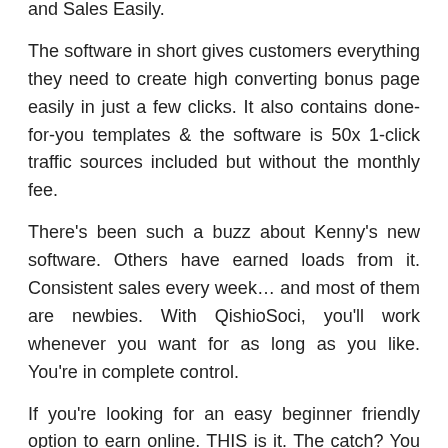and Sales Easily.
The software in short gives customers everything they need to create high converting bonus page easily in just a few clicks. It also contains done-for-you templates & the software is 50x 1-click traffic sources included but without the monthly fee.
There's been such a buzz about Kenny's new software. Others have earned loads from it. Consistent sales every week… and most of them are newbies. With QishioSoci, you'll work whenever you want for as long as you like. You're in complete control.
If you're looking for an easy beginner friendly option to earn online. THIS is it. The catch? You only have 48 hours to pick this up. So don't hesitate to check the next parts of this QishioSoci Review as I'll show you how powerful it is!